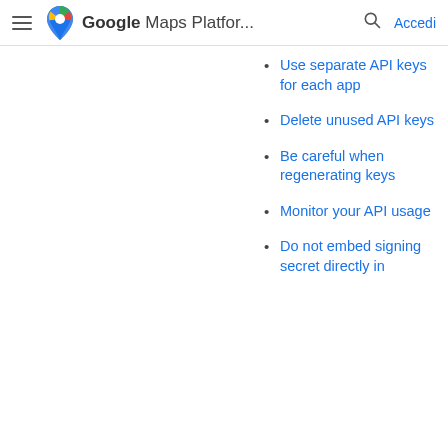Google Maps Platfor... Accedi
Use separate API keys for each app
Delete unused API keys
Be careful when regenerating keys
Monitor your API usage
Do not embed signing secret directly in